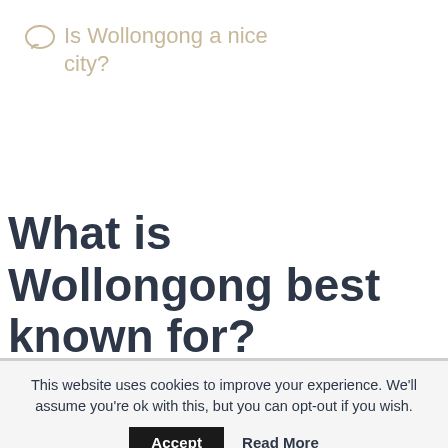Is Wollongong a nice city?
What is Wollongong best known for?
This website uses cookies to improve your experience. We'll assume you're ok with this, but you can opt-out if you wish.
Accept   Read More